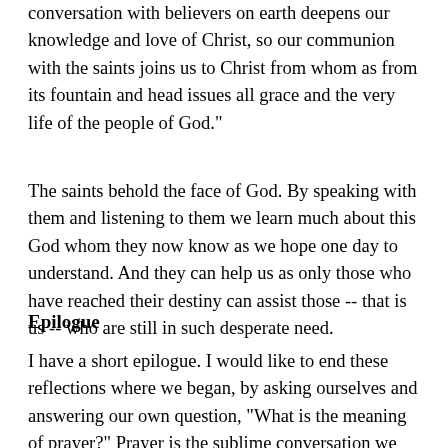conversation with believers on earth deepens our knowledge and love of Christ, so our communion with the saints joins us to Christ from whom as from its fountain and head issues all grace and the very life of the people of God."
The saints behold the face of God. By speaking with them and listening to them we learn much about this God whom they now know as we hope one day to understand. And they can help us as only those who have reached their destiny can assist those -- that is us -- who are still in such desperate need.
Epilogue
I have a short epilogue. I would like to end these reflections where we began, by asking ourselves and answering our own question, "What is the meaning of prayer?" Prayer is the sublime conversation we are mysteriously able to hold with the invisible world of God and of God's angels and